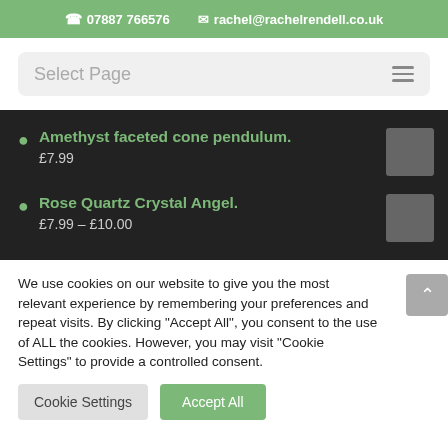07887 766576   rachel@rachelrendell.co.uk
Select Page
Amethyst faceted cone pendulum.
£7.99
Rose Quartz Crystal Angel.
£7.99 – £10.00
We use cookies on our website to give you the most relevant experience by remembering your preferences and repeat visits. By clicking "Accept All", you consent to the use of ALL the cookies. However, you may visit "Cookie Settings" to provide a controlled consent.
Cookie Settings   Accept All